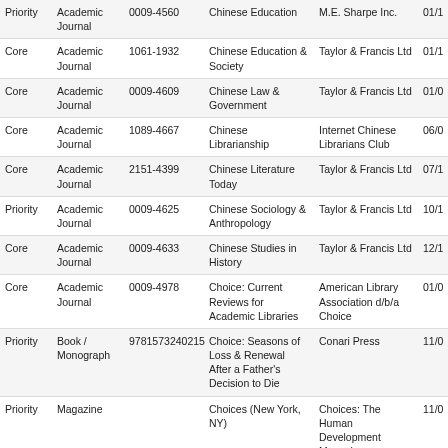| Priority | Type | ISSN/ISBN | Title | Publisher | Date |
| --- | --- | --- | --- | --- | --- |
| Priority | Academic Journal | 0009-4560 | Chinese Education | M.E. Sharpe Inc. | 01/1 |
| Core | Academic Journal | 1061-1932 | Chinese Education & Society | Taylor & Francis Ltd | 01/1 |
| Core | Academic Journal | 0009-4609 | Chinese Law & Government | Taylor & Francis Ltd | 01/0 |
| Core | Academic Journal | 1089-4667 | Chinese Librarianship | Internet Chinese Librarians Club | 06/0 |
| Core | Academic Journal | 2151-4399 | Chinese Literature Today | Taylor & Francis Ltd | 07/1 |
| Priority | Academic Journal | 0009-4625 | Chinese Sociology & Anthropology | Taylor & Francis Ltd | 10/1 |
| Core | Academic Journal | 0009-4633 | Chinese Studies in History | Taylor & Francis Ltd | 12/1 |
| Core | Academic Journal | 0009-4978 | Choice: Current Reviews for Academic Libraries | American Library Association d/b/a Choice | 01/0 |
| Priority | Book / Monograph | 9781573240215 | Choice: Seasons of Loss & Renewal After a Father's Decision to Die | Conari Press | 11/0 |
| Priority | Magazine |  | Choices (New York, NY) | Choices: The Human Development Magazine | 11/0 |
| Core | Trade Publication | 0886-5558 | Choices: The Magazine of Food, Farm & Resource Issues | Agricultural & Applied Economics Association | 01/0 |
| Core | Magazine | 0009-5281 | Christian Century | Christian Century Foundation | 11/1 |
| Priority | Magazine | 0009-5745 | Christianity & Crisis | Christianity & Crisis Inc. | 09/1 |
| Core | Academic Journal | 0148-3331 | Christianity & Literature | Johns Hopkins University Press | 04/1 |